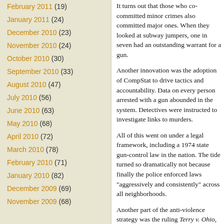February 2011 (19)
January 2011 (24)
December 2010 (23)
November 2010 (24)
October 2010 (30)
September 2010 (33)
August 2010 (47)
July 2010 (56)
June 2010 (63)
May 2010 (68)
April 2010 (72)
March 2010 (78)
February 2010 (71)
January 2010 (82)
December 2009 (69)
November 2009 (68)
It turns out that those who committed minor crimes also committed major ones. When they looked at subway jumpers, one in seven had an outstanding warrant for a gun.
Another innovation was the adoption of CompStat to drive tactics and accountability. Data on every person arrested with a gun abounded in the system. Detectives were instructed to look for links to murders.
All of this went on under a legal framework including a 1974 state gun-control law in the nation. The tide turned so dramatically not because finally the police enforced laws “aggressively and consistently” across all neighborhoods.
Another part of the anti-violence strategy was the ruling Terry v. Ohio, which held that police could question and frisk a person on “reasonable suspicion” that the person has committed or is about to commit a crime. “Stop-and-frisk” —and now, in a transformed